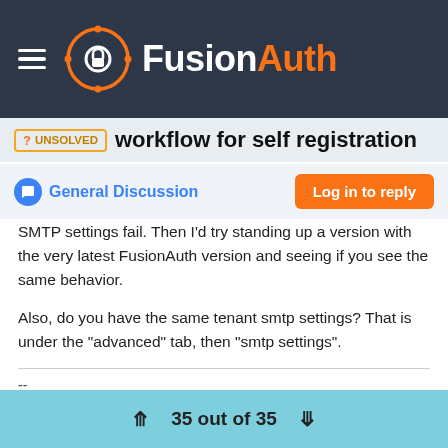FusionAuth
workflow for self registration
General Discussion
SMTP settings fail. Then I'd try standing up a version with the very latest FusionAuth version and seeing if you see the same behavior.

Also, do you have the same tenant smtp settings? That is under the "advanced" tab, then "smtp settings".
--
FusionAuth - Auth for devs, built by devs.
https://fusionauth.io
35 out of 35